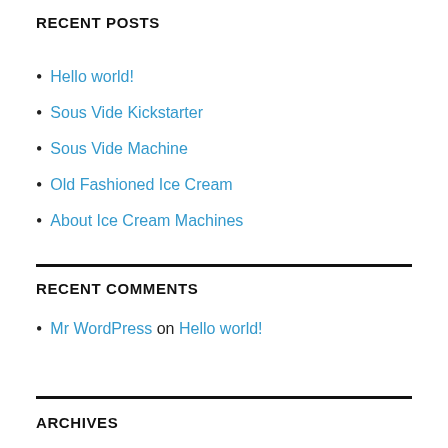RECENT POSTS
Hello world!
Sous Vide Kickstarter
Sous Vide Machine
Old Fashioned Ice Cream
About Ice Cream Machines
RECENT COMMENTS
Mr WordPress on Hello world!
ARCHIVES